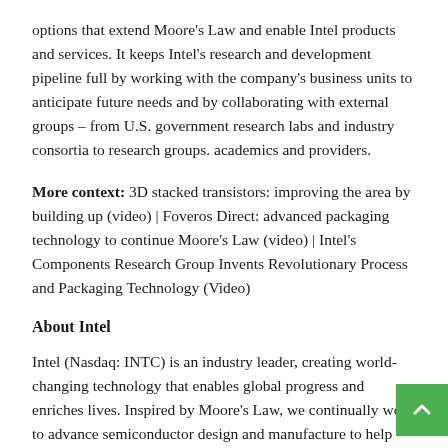options that extend Moore's Law and enable Intel products and services. It keeps Intel's research and development pipeline full by working with the company's business units to anticipate future needs and by collaborating with external groups – from U.S. government research labs and industry consortia to research groups. academics and providers.
More context: 3D stacked transistors: improving the area by building up (video) | Foveros Direct: advanced packaging technology to continue Moore's Law (video) | Intel's Components Research Group Invents Revolutionary Process and Packaging Technology (Video)
About Intel
Intel (Nasdaq: INTC) is an industry leader, creating world-changing technology that enables global progress and enriches lives. Inspired by Moore's Law, we continually work to advance semiconductor design and manufacture to help meet our customers' greatest challenges. By integrating intelligence...